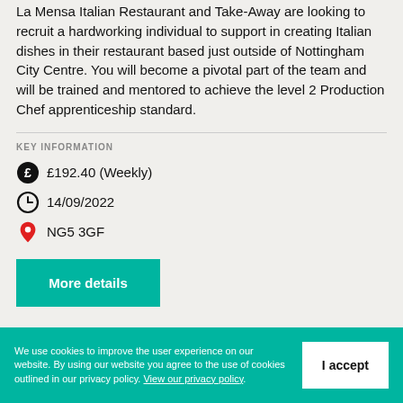La Mensa Italian Restaurant and Take-Away are looking to recruit a hardworking individual to support in creating Italian dishes in their restaurant based just outside of Nottingham City Centre. You will become a pivotal part of the team and will be trained and mentored to achieve the level 2 Production Chef apprenticeship standard.
KEY INFORMATION
£192.40 (Weekly)
14/09/2022
NG5 3GF
More details
We use cookies to improve the user experience on our website. By using our website you agree to the use of cookies outlined in our privacy policy. View our privacy policy.
I accept